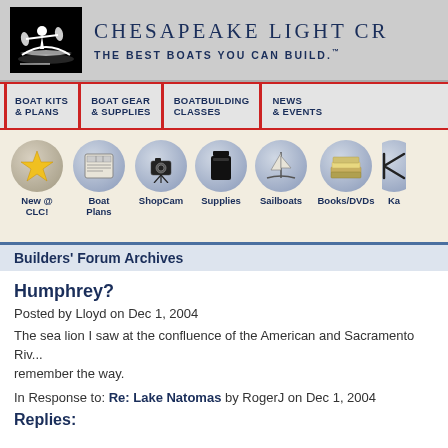[Figure (logo): Chesapeake Light Craft logo with person in kayak silhouette on black background, site title and tagline]
BOAT KITS & PLANS | BOAT GEAR & SUPPLIES | BOATBUILDING CLASSES | NEWS & EVENTS
[Figure (infographic): Navigation icons row: New @ CLC! (gold star), Boat Plans (plans illustration), ShopCam (camera), Supplies (container), Sailboats (sailboat), Books/DVDs (books stack), Ka... (partially visible)]
Builders' Forum Archives
Humphrey?
Posted by Lloyd on Dec 1, 2004
The sea lion I saw at the confluence of the American and Sacramento Riv... remember the way.
In Response to: Re: Lake Natomas by RogerJ on Dec 1, 2004
Replies: